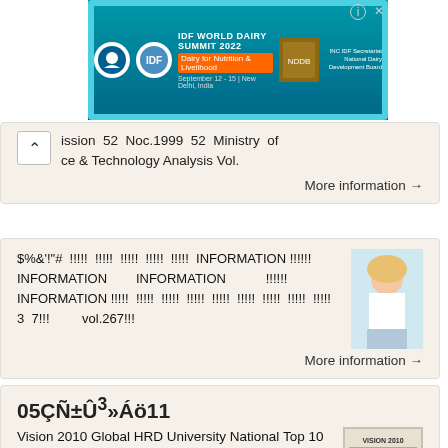[Figure (infographic): IDF World Dairy Summit 2022 advertisement banner with stamp-style border, logos, and event details: Dairy for Nutrition & Livelihood, September 12-15, New Delhi, India]
ission  52  Noc.1999  52  Ministry of
ce & Technology Analysis Vol.
More information →
$%&'!"#  !!!!!  !!!!!  !!!!!  !!!!!  !!!!!  INFORMATION !!!!!
INFORMATION           INFORMATION          !!!!!
INFORMATION !!!!!  !!!!!  !!!!!  !!!!!  !!!!!  !!!!!  !!!!!  !!!!!  !!!!!
3  7!!!         vol.267!!!
[Figure (photo): Young woman in white dress and hat, light blue background]
More information →
05ÇÑ±Û³»Áö11
Vision 2010 Global HRD University National Top 10 Greetings of Issuance M e s s a g e Education  Goal  Histiory  Academic  Affairs
[Figure (screenshot): Vision 2010 document cover thumbnail]